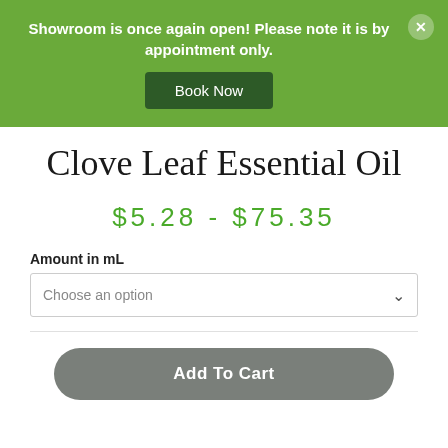Showroom is once again open! Please note it is by appointment only.
Book Now
Clove Leaf Essential Oil
$5.28 - $75.35
Amount in mL
Choose an option
Add To Cart